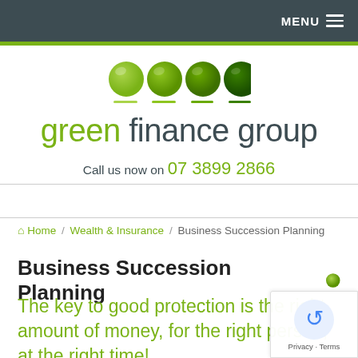MENU
[Figure (logo): Green Finance Group logo with four green circles graduating from light to dark green, followed by the wordmark 'green finance group' in green and dark grey]
Call us now on 07 3899 2866
Home / Wealth & Insurance / Business Succession Planning
Business Succession Planning
The key to good protection is the right amount of money, for the right person, at the right time!